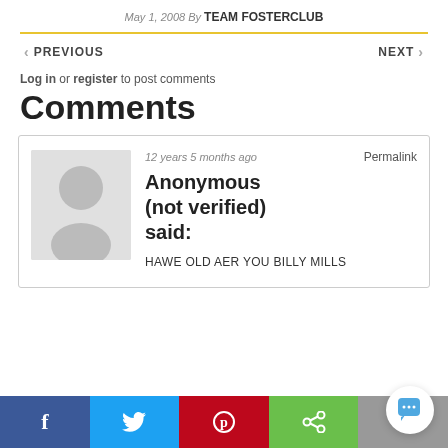May 1, 2008 By TEAM FOSTERCLUB
Log in or register to post comments
Comments
12 years 5 months ago   Permalink
Anonymous (not verified) said:
HAWE OLD AER YOU BILLY MILLS
Facebook Twitter Pinterest Share More